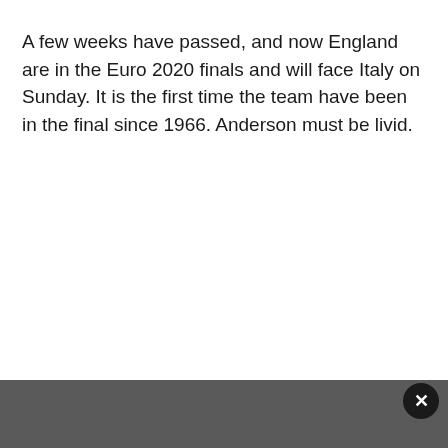A few weeks have passed, and now England are in the Euro 2020 finals and will face Italy on Sunday. It is the first time the team have been in the final since 1966. Anderson must be livid.